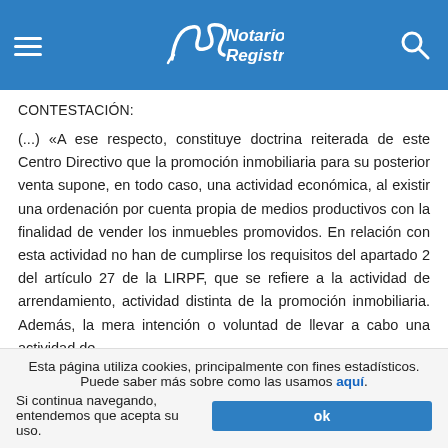Notarios y Registradores.com
CONTESTACIÓN:
(...) «A ese respecto, constituye doctrina reiterada de este Centro Directivo que la promoción inmobiliaria para su posterior venta supone, en todo caso, una actividad económica, al existir una ordenación por cuenta propia de medios productivos con la finalidad de vender los inmuebles promovidos. En relación con esta actividad no han de cumplirse los requisitos del apartado 2 del artículo 27 de la LIRPF, que se refiere a la actividad de arrendamiento, actividad distinta de la promoción inmobiliaria. Además, la mera intención o voluntad de llevar a cabo una actividad de
Esta página utiliza cookies, principalmente con fines estadísticos. Puede saber más sobre como las usamos aquí. Si continua navegando, entendemos que acepta su uso.